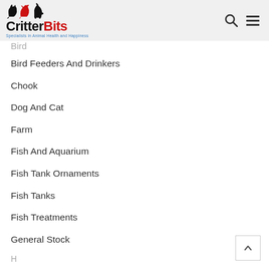CritterBits - Specialists in Animal Health and Happiness
Bird (partially visible)
Bird Feeders And Drinkers
Chook
Dog And Cat
Farm
Fish And Aquarium
Fish Tank Ornaments
Fish Tanks
Fish Treatments
General Stock
H... (partially visible)